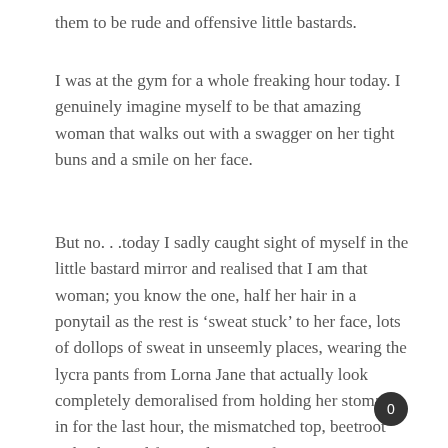them to be rude and offensive little bastards.
I was at the gym for a whole freaking hour today. I genuinely imagine myself to be that amazing woman that walks out with a swagger on her tight buns and a smile on her face.
But no. . .today I sadly caught sight of myself in the little bastard mirror and realised that I am that woman; you know the one, half her hair in a ponytail as the rest is ‘sweat stuck’ to her face, lots of dollops of sweat in unseemly places, wearing the lycra pants from Lorna Jane that actually look completely demoralised from holding her stomach in for the last hour, the mismatched top, beetroot red exhausted face and waiting for some smart
0